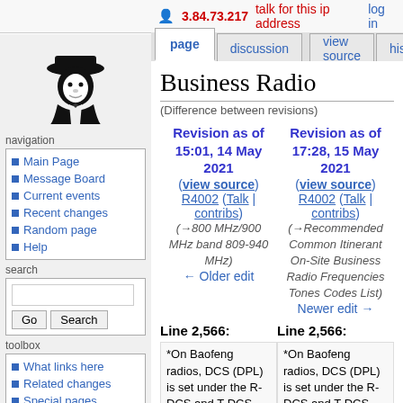3.84.73.217  talk for this ip address  log in
page | discussion | view source | history
[Figure (logo): Wikipedia-style detective/cowboy figure logo in black silhouette]
navigation
Main Page
Message Board
Current events
Recent changes
Random page
Help
search
toolbox
What links here
Related changes
Special pages
Business Radio
(Difference between revisions)
| Revision as of 15:01, 14 May 2021 | Revision as of 17:28, 15 May 2021 |
| --- | --- |
| (view source) | (view source) |
| R4002 (Talk | contribs) | R4002 (Talk | contribs) |
| (→800 MHz/900 MHz band 809-940 MHz) | (→Recommended Common Itinerant On-Site Business Radio Frequencies Tones Codes List) |
| ← Older edit | Newer edit → |
Line 2,566:
Line 2,566:
*On Baofeng radios, DCS (DPL) is set under the R-DCS and T-DCS settings (both should be the same for transmit
*On Baofeng radios, DCS (DPL) is set under the R-DCS and T-DCS settings (both should be the same for transmit